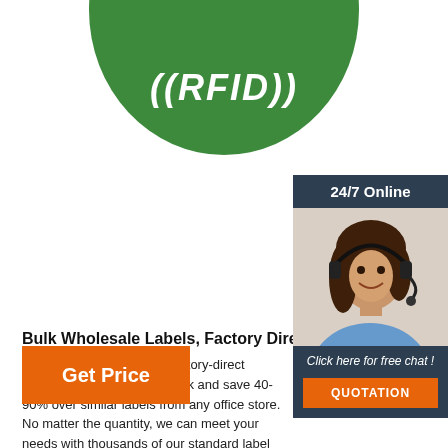[Figure (photo): Green RFID disc/circle with white text '((RFID))' shown at top of page, partially cropped]
[Figure (photo): Customer service chat widget on right side: '24/7 Online' header, photo of smiling woman with headset, 'Click here for free chat!' text, and orange QUOTATION button]
Bulk Wholesale Labels, Factory Direct
Shop wholesale labels at factory-direct prices. Buy your labels in bulk and save 40-90% over similar labels from any office store. No matter the quantity, we can meet your needs with thousands of our standard label configurations in stock, internet's largest selection of ready-to-ship blank labels sheets and rolls.
[Figure (other): Orange 'Get Price' button]
[Figure (logo): Orange TOP logo with dots forming chevron/pyramid shape above the word TOP]